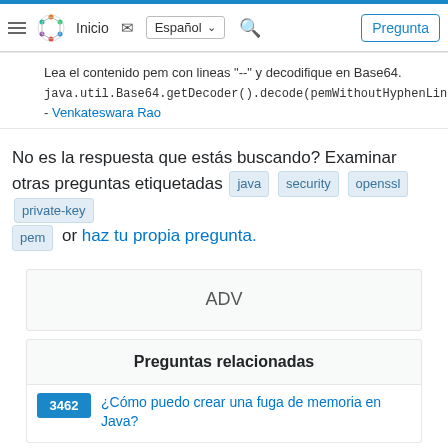Inicio | Español | Pregunta
Lea el contenido pem con lineas "--" y decodifique en Base64. java.util.Base64.getDecoder().decode(pemWithoutHyphenLines - Venkateswara Rao
No es la respuesta que estás buscando? Examinar otras preguntas etiquetadas java security openssl private-key pem or haz tu propia pregunta.
[Figure (other): ADV advertisement placeholder box]
Preguntas relacionadas
3462 ¿Cómo puedo crear una fuga de memoria en Java?